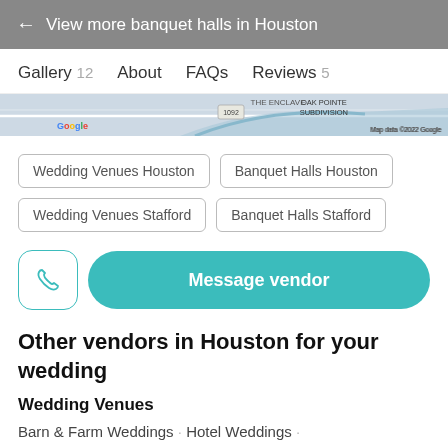← View more banquet halls in Houston
Gallery 12   About   FAQs   Reviews 5
[Figure (map): Partial Google Maps screenshot showing The Enclave area, route 1092, Oak Pointe Subdivision, with Google logo and Map data ©2022 Google watermark]
Wedding Venues Houston
Banquet Halls Houston
Wedding Venues Stafford
Banquet Halls Stafford
Message vendor
Other vendors in Houston for your wedding
Wedding Venues
Barn & Farm Weddings · Hotel Weddings ·